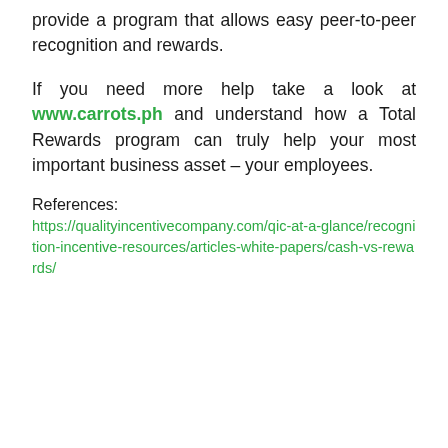provide a program that allows easy peer-to-peer recognition and rewards.
If you need more help take a look at www.carrots.ph and understand how a Total Rewards program can truly help your most important business asset – your employees.
References:
https://qualityincentivecompany.com/qic-at-a-glance/recognition-incentive-resources/articles-white-papers/cash-vs-rewards/